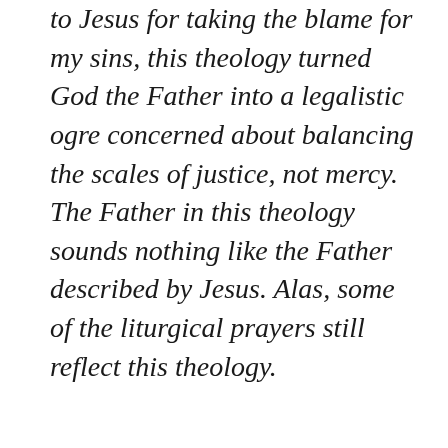to Jesus for taking the blame for my sins, this theology turned God the Father into a legalistic ogre concerned about balancing the scales of justice, not mercy. The Father in this theology sounds nothing like the Father described by Jesus. Alas, some of the liturgical prayers still reflect this theology.